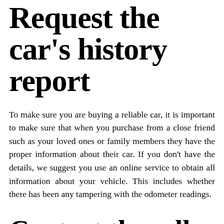Request the car's history report
To make sure you are buying a reliable car, it is important to make sure that when you purchase from a close friend such as your loved ones or family members they have the proper information about their car. If you don't have the details, we suggest you use an online service to obtain all information about your vehicle. This includes whether there has been any tampering with the odometer readings.
Contact the seller
We suggest that you drive to the car's location as soon